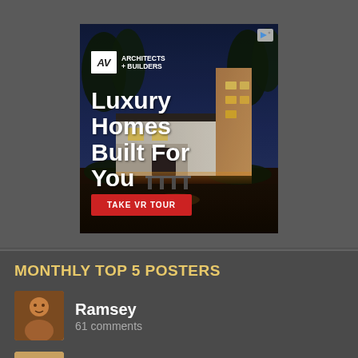[Figure (screenshot): Advertisement banner for AV Architects + Builders showing a luxury home at night with text 'Luxury Homes Built For You' and a red 'TAKE VR TOUR' button. Skip/close icons in top right corner.]
MONTHLY TOP 5 POSTERS
[Figure (photo): Avatar photo of user Ramsey - a person's face]
Ramsey
61 comments
[Figure (photo): Avatar photo of user MilkChan]
MilkChan